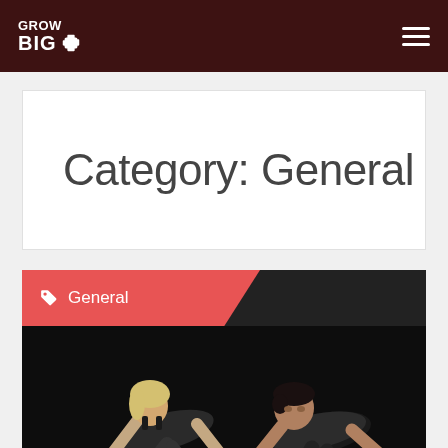GROW BIG
Category: General
General
[Figure (photo): Two athletes (a woman and a man) doing push-ups on a dark background. The woman is on the left with blonde hair in a dark outfit; the man is on the right wearing a black shirt with orange wristband.]